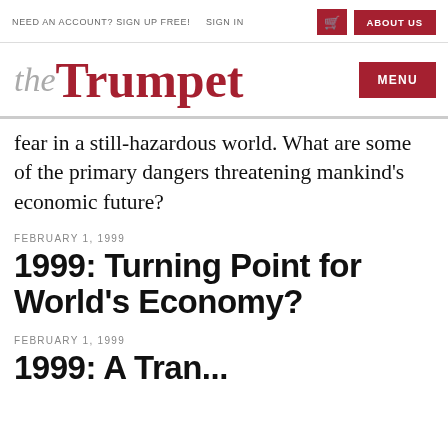NEED AN ACCOUNT? SIGN UP FREE!   SIGN IN   ABOUT US
the Trumpet
fear in a still-hazardous world. What are some of the primary dangers threatening mankind's economic future?
FEBRUARY 1, 1999
1999: Turning Point for World's Economy?
FEBRUARY 1, 1999